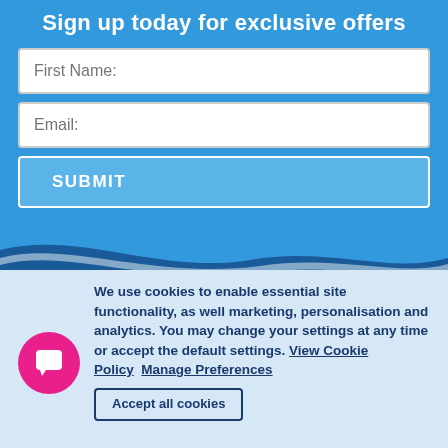Sign up today for exclusive offers
First Name:
Email:
SUBMIT
We use cookies to enable essential site functionality, as well marketing, personalisation and analytics. You may change your settings at any time or accept the default settings. View Cookie Policy   Manage Preferences
Accept all cookies